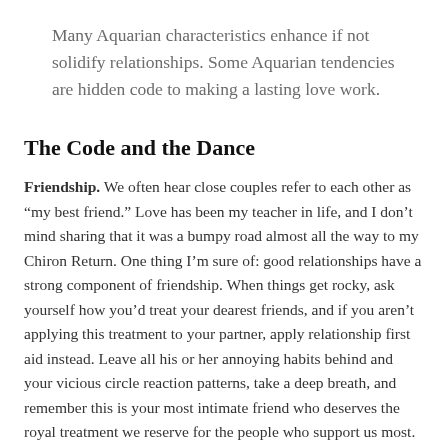Many Aquarian characteristics enhance if not solidify relationships. Some Aquarian tendencies are hidden code to making a lasting love work.
The Code and the Dance
Friendship. We often hear close couples refer to each other as “my best friend.” Love has been my teacher in life, and I don’t mind sharing that it was a bumpy road almost all the way to my Chiron Return. One thing I’m sure of: good relationships have a strong component of friendship. When things get rocky, ask yourself how you’d treat your dearest friends, and if you aren’t applying this treatment to your partner, apply relationship first aid instead. Leave all his or her annoying habits behind and your vicious circle reaction patterns, take a deep breath, and remember this is your most intimate friend who deserves the royal treatment we reserve for the people who support us most. Aquarius values